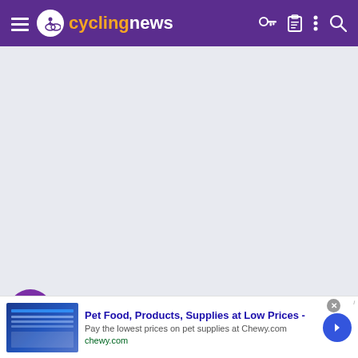cyclingnews
[Figure (screenshot): Gray advertisement placeholder area in the main content region of the cyclingnews website]
HelloDolly  Mar 13, 2015  6,613  1,555  20,680
[Figure (infographic): Pet Food, Products, Supplies at Low Prices - Chewy.com advertisement banner with blue product image thumbnail, ad title, subtitle 'Pay the lowest prices on pet supplies at Chewy.com', domain 'chewy.com', close button and navigation arrow]